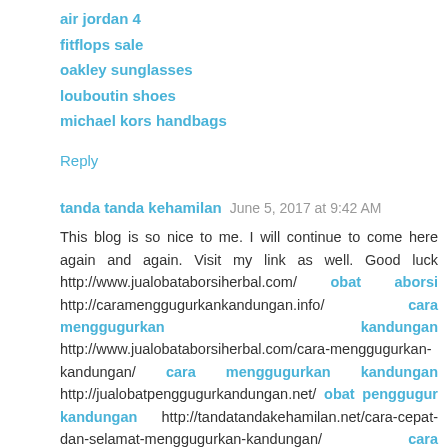air jordan 4
fitflops sale
oakley sunglasses
louboutin shoes
michael kors handbags
Reply
tanda tanda kehamilan  June 5, 2017 at 9:42 AM
This blog is so nice to me. I will continue to come here again and again. Visit my link as well. Good luck http://www.jualobataborsiherbal.com/ obat aborsi http://caramenggugurkankandungan.info/ cara menggugurkan kandungan http://www.jualobataborsiherbal.com/cara-menggugurkan-kandungan/ cara menggugurkan kandungan http://jualobatpenggugurkandungan.net/ obat penggugur kandungan http://tandatandakehamilan.net/cara-cepat-dan-selamat-menggugurkan-kandungan/ cara menggugurkan kandungan http://obataborsi59.com/ obat aborsi